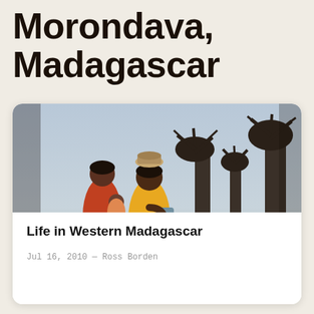Morondava, Madagascar
[Figure (photo): Two women and a baby standing in front of large baobab trees at dusk. One woman carries a basket on her head and holds a baby, wearing a yellow dress. Another woman in red stands to the left holding the infant. The sky is pale blue-grey and several leafless baobab trees are visible in the background.]
Life in Western Madagascar
Jul 16, 2010 — Ross Borden